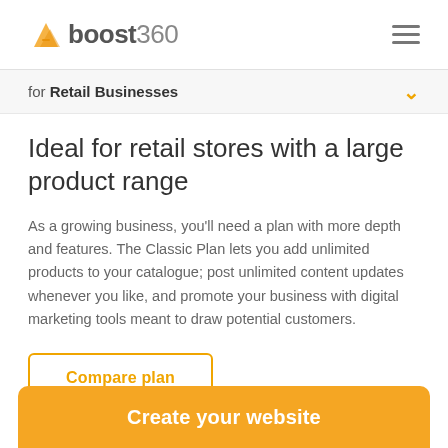boost360
for Retail Businesses
Ideal for retail stores with a large product range
As a growing business, you'll need a plan with more depth and features. The Classic Plan lets you add unlimited products to your catalogue; post unlimited content updates whenever you like, and promote your business with digital marketing tools meant to draw potential customers.
Compare plan
Create your website